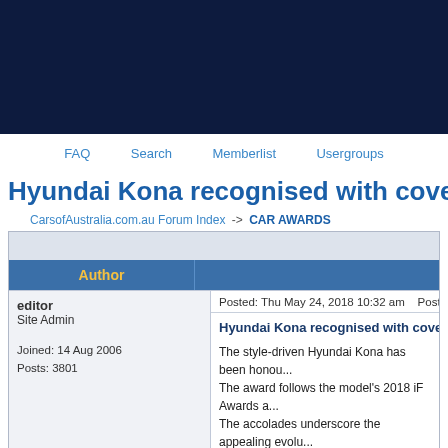[Figure (other): Dark navy blue banner/header image for CarsofAustralia.com.au forum]
FAQ   Search   Memberlist   Usergroups
Hyundai Kona recognised with coveted...
CarsofAustralia.com.au Forum Index -> CAR AWARDS
| Author | Message |
| --- | --- |
| editor
Site Admin

Joined: 14 Aug 2006
Posts: 3801 | Posted: Thu May 24, 2018 10:32 am   Post subject: H...

Hyundai Kona recognised with coveted Goo...

The style-driven Hyundai Kona has been honou...
The award follows the model's 2018 iF Awards a...
The accolades underscore the appealing evolu... |